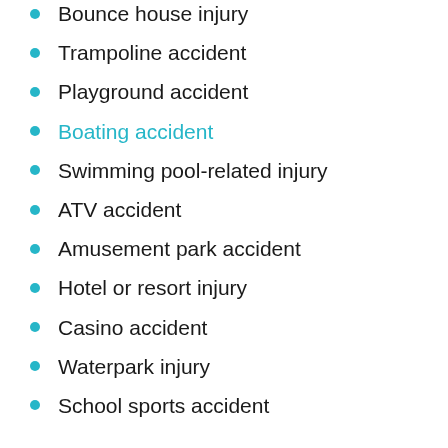Bounce house injury
Trampoline accident
Playground accident
Boating accident
Swimming pool-related injury
ATV accident
Amusement park accident
Hotel or resort injury
Casino accident
Waterpark injury
School sports accident